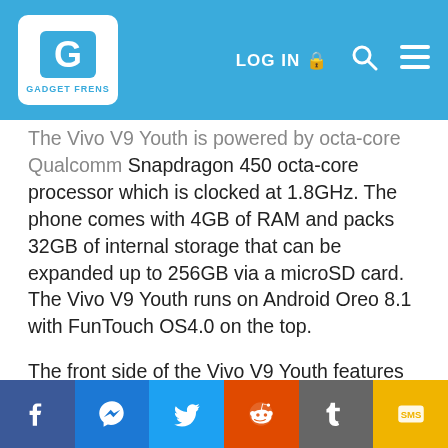Gadget Frenk – LOG IN
The Vivo V9 Youth is powered by octa-core Qualcomm Snapdragon 450 octa-core processor which is clocked at 1.8GHz. The phone comes with 4GB of RAM and packs 32GB of internal storage that can be expanded up to 256GB via a microSD card. The Vivo V9 Youth runs on Android Oreo 8.1 with FunTouch OS4.0 on the top.
The front side of the Vivo V9 Youth features a 16-megapixel selfie camera whereas the backside is fitted with 16-megapixel + 2-megapixel dual camera setup. The camera lacks support for 4K video shooting but comes with features like AI Beauty, Bokeh mode, and AR stickers. The rear panel of the phone is fitted with a
Facebook | Messenger | Twitter | Reddit | Tumblr | SMS